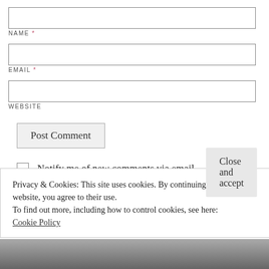NAME *
EMAIL *
WEBSITE
Post Comment
Notify me of new comments via email.
Notify me of new posts via email.
Privacy & Cookies: This site uses cookies. By continuing to use this website, you agree to their use.
To find out more, including how to control cookies, see here:
Cookie Policy
Close and accept